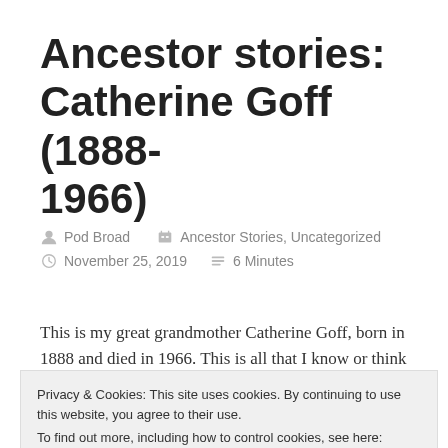Ancestor stories: Catherine Goff (1888-1966)
Pod Broad   Ancestor Stories, Uncategorized
November 25, 2019   6 Minutes
This is my great grandmother Catherine Goff, born in 1888 and died in 1966. This is all that I know or think
Privacy & Cookies: This site uses cookies. By continuing to use this website, you agree to their use.
To find out more, including how to control cookies, see here: Cookie Policy
Close and accept
She was born in 1888 in Greenleaf Township, Meeker